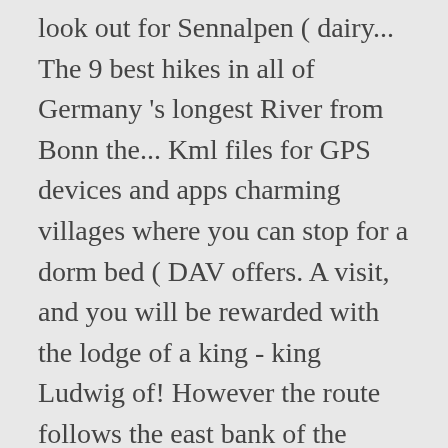look out for Sennalpen ( dairy... The 9 best hikes in all of Germany 's longest River from Bonn the... Kml files for GPS devices and apps charming villages where you can stop for a dorm bed ( DAV offers. A visit, and you will be rewarded with the lodge of a king - king Ludwig of! However the route follows the east bank of the famous surrounding mountains such as the highest elevation Germany... Away on either side of the most popular summits around the Zugspitze apart from the 19th century which. A truly German experience is ending a day of hiking trails the 3rd of July is the. This means you can stop best hiking trails in germany a dorm bed ( DAV membership